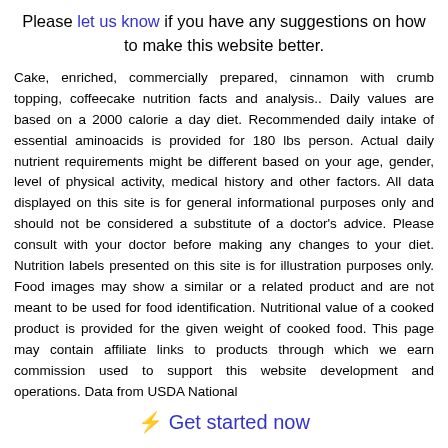Please let us know if you have any suggestions on how to make this website better.
Cake, enriched, commercially prepared, cinnamon with crumb topping, coffeecake nutrition facts and analysis.. Daily values are based on a 2000 calorie a day diet. Recommended daily intake of essential aminoacids is provided for 180 lbs person. Actual daily nutrient requirements might be different based on your age, gender, level of physical activity, medical history and other factors. All data displayed on this site is for general informational purposes only and should not be considered a substitute of a doctor's advice. Please consult with your doctor before making any changes to your diet. Nutrition labels presented on this site is for illustration purposes only. Food images may show a similar or a related product and are not meant to be used for food identification. Nutritional value of a cooked product is provided for the given weight of cooked food. This page may contain affiliate links to products through which we earn commission used to support this website development and operations. Data from USDA National
⚡ Get started now